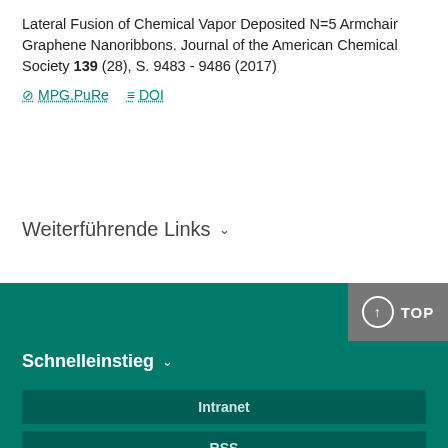Lateral Fusion of Chemical Vapor Deposited N=5 Armchair Graphene Nanoribbons. Journal of the American Chemical Society 139 (28), S. 9483 - 9486 (2017)
MPG.PuRe   DOI
Weiterführende Links
Schnelleinstieg
Intranet
RSS